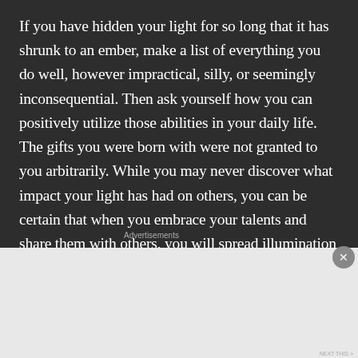If you have hidden your light for so long that it has shrunk to an ember, make a list of everything you do well, however impractical, silly, or seemingly inconsequential. Then ask yourself how you can positively utilize those abilities in your daily life. The gifts you were born with were not granted to you arbitrarily. While you may never discover what impact your light has had on others, you can be certain that when you embrace your talents and share them with others, you will spread illumination in the world.
Advertisements
Advertisement(s)
[Figure (illustration): DuckDuckGo advertisement banner. Orange background with white text 'Search, browse, and email with more privacy.' and 'All in One Free App' button. Right side shows a smartphone with DuckDuckGo logo and brand name.]